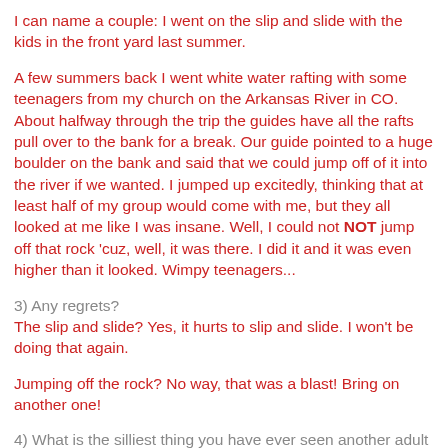I can name a couple: I went on the slip and slide with the kids in the front yard last summer.
A few summers back I went white water rafting with some teenagers from my church on the Arkansas River in CO. About halfway through the trip the guides have all the rafts pull over to the bank for a break. Our guide pointed to a huge boulder on the bank and said that we could jump off of it into the river if we wanted. I jumped up excitedly, thinking that at least half of my group would come with me, but they all looked at me like I was insane. Well, I could not NOT jump off that rock 'cuz, well, it was there. I did it and it was even higher than it looked. Wimpy teenagers...
3) Any regrets?
The slip and slide? Yes, it hurts to slip and slide. I won't be doing that again.
Jumping off the rock? No way, that was a blast! Bring on another one!
4) What is the silliest thing you have ever seen another adult